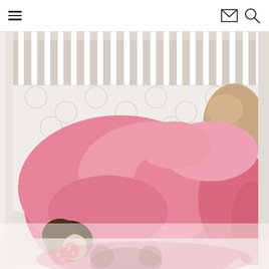Navigation header with hamburger menu, email icon, and search icon
[Figure (photo): A child sleeping in a white crib, covered with a pink blanket, wearing red Minnie Mouse ears hair clip. The crib has white spindles and a patterned crib sheet. A tan stuffed animal or pillow is visible in the corner. The lower portion shows a faded/reflected version of the same image.]